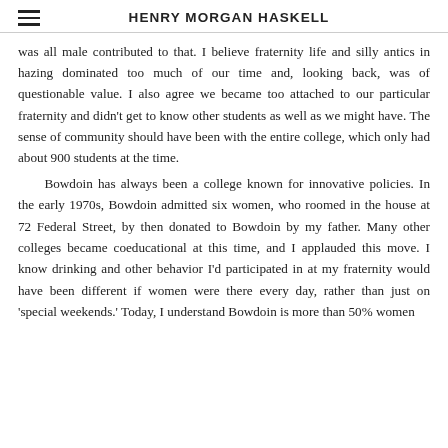HENRY MORGAN HASKELL
was all male contributed to that. I believe fraternity life and silly antics in hazing dominated too much of our time and, looking back, was of questionable value. I also agree we became too attached to our particular fraternity and didn't get to know other students as well as we might have. The sense of community should have been with the entire college, which only had about 900 students at the time.

Bowdoin has always been a college known for innovative policies. In the early 1970s, Bowdoin admitted six women, who roomed in the house at 72 Federal Street, by then donated to Bowdoin by my father. Many other colleges became coeducational at this time, and I applauded this move. I know drinking and other behavior I'd participated in at my fraternity would have been different if women were there every day, rather than just on 'special weekends.' Today, I understand Bowdoin is more than 50% women